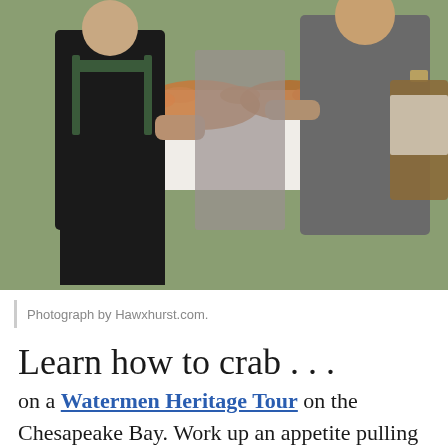[Figure (photo): Outdoor crab feast scene with people sitting around a table covered with a floral tablecloth and piles of crabs, eating outdoors.]
Photograph by Hawxhurst.com.
Learn how to crab . . .
on a Watermen Heritage Tour on the Chesapeake Bay. Work up an appetite pulling pots, then enjoy the scenery while your guide explains the bay's history. Tour lengths vary, but expect a two-hour minimum. Some of the watermen who take groups of six or fewer out